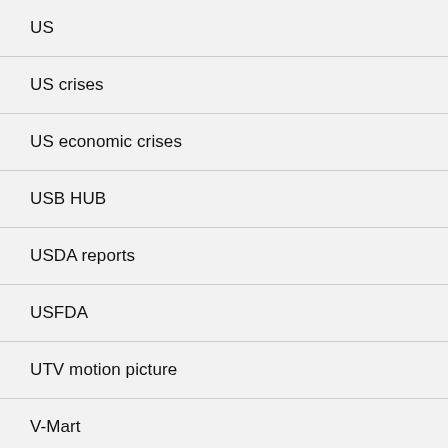US
US crises
US economic crises
USB HUB
USDA reports
USFDA
UTV motion picture
V-Mart